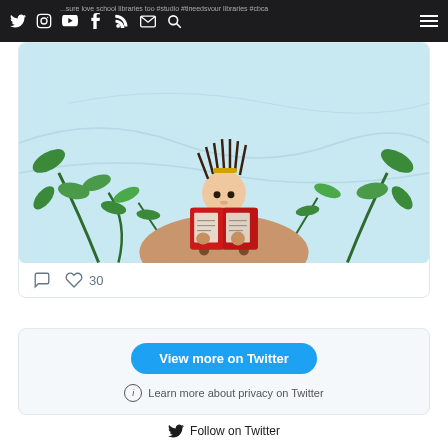Navigation bar with social icons: Twitter, Instagram, YouTube, Facebook, RSS, Email, Search, and hamburger menu
[Figure (illustration): Illustration of a child with wild hair sitting on a bear, reading a red book, surrounded by green leaves on a light blue background]
30 likes
[Figure (screenshot): Twitter embedded widget with 'View more on Twitter' button and 'Learn more about privacy on Twitter' text]
Follow on Twitter